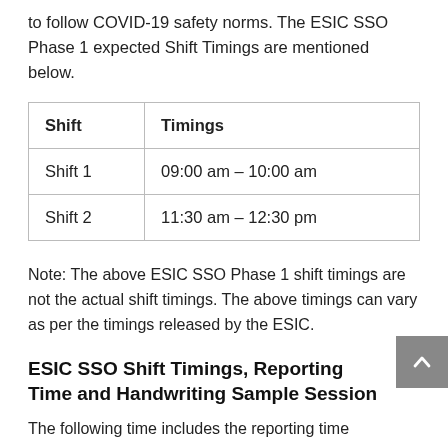to follow COVID-19 safety norms. The ESIC SSO Phase 1 expected Shift Timings are mentioned below.
| Shift | Timings |
| --- | --- |
| Shift 1 | 09:00 am – 10:00 am |
| Shift 2 | 11:30 am – 12:30 pm |
Note: The above ESIC SSO Phase 1 shift timings are not the actual shift timings. The above timings can vary as per the timings released by the ESIC.
ESIC SSO Shift Timings, Reporting Time and Handwriting Sample Session
The following time includes the reporting time